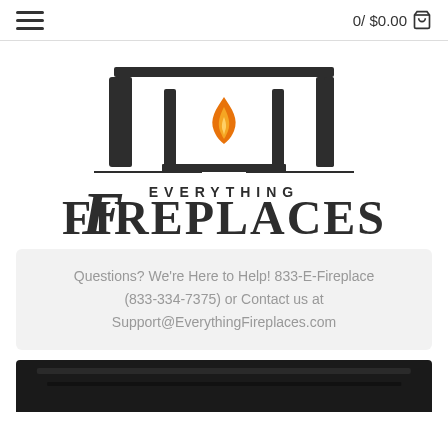0/ $0.00 🛒
[Figure (logo): Everything Fireplaces logo: a dark gray fireplace mantle silhouette with an orange flame icon, horizontal lines, and the text 'EVERYTHING FIREPLACES' in large serif/display font]
Questions? We're Here to Help! 833-E-Fireplace (833-334-7375) or Contact us at Support@EverythingFireplaces.com
[Figure (photo): Bottom of a black fireplace insert product, partially visible at the bottom of the page]